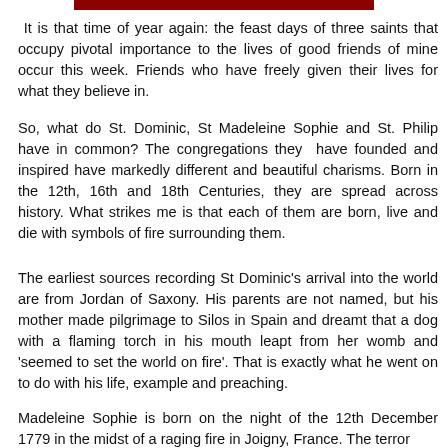[Figure (other): Dark red horizontal banner bar at the top center of the page]
It is that time of year again: the feast days of three saints that occupy pivotal importance to the lives of good friends of mine occur this week. Friends who have freely given their lives for what they believe in.
So, what do St. Dominic, St Madeleine Sophie and St. Philip have in common? The congregations they have founded and inspired have markedly different and beautiful charisms. Born in the 12th, 16th and 18th Centuries, they are spread across history. What strikes me is that each of them are born, live and die with symbols of fire surrounding them.
The earliest sources recording St Dominic's arrival into the world are from Jordan of Saxony. His parents are not named, but his mother made pilgrimage to Silos in Spain and dreamt that a dog with a flaming torch in his mouth leapt from her womb and 'seemed to set the world on fire'. That is exactly what he went on to do with his life, example and preaching.
Madeleine Sophie is born on the night of the 12th December 1779 in the midst of a raging fire in Joigny, France. The terror